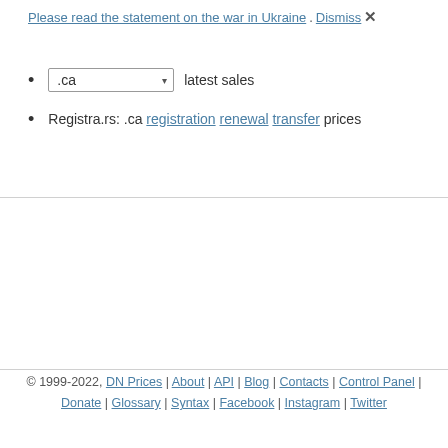Please read the statement on the war in Ukraine. Dismiss ×
.ca latest sales
Registra.rs: .ca registration renewal transfer prices
© 1999-2022, DN Prices | About | API | Blog | Contacts | Control Panel | Donate | Glossary | Syntax | Facebook | Instagram | Twitter